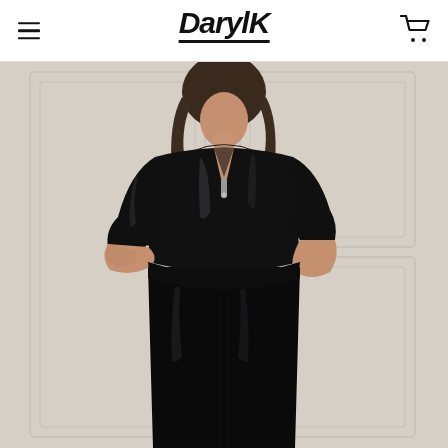Daryl K – navigation header with hamburger menu icon and shopping cart icon
[Figure (photo): Fashion product photo of a female model wearing a black oversized satin zip-neck blouse and black leather skinny pants, posed against a white panelled wall background. The Daryl K brand logo appears in the header above.]